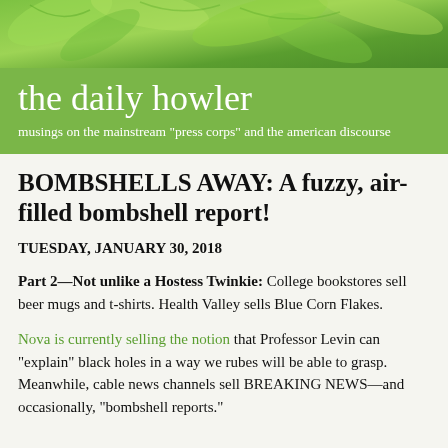[Figure (photo): Green leaves background image for site header]
the daily howler
musings on the mainstream "press corps" and the american discourse
BOMBSHELLS AWAY: A fuzzy, air-filled bombshell report!
TUESDAY, JANUARY 30, 2018
Part 2—Not unlike a Hostess Twinkie: College bookstores sell beer mugs and t-shirts. Health Valley sells Blue Corn Flakes.
Nova is currently selling the notion that Professor Levin can "explain" black holes in a way we rubes will be able to grasp. Meanwhile, cable news channels sell BREAKING NEWS—and occasionally, "bombshell reports."